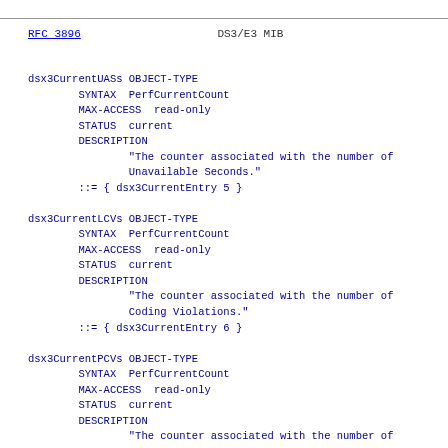RFC 3896    DS3/E3 MIB
dsx3CurrentUASs OBJECT-TYPE
        SYNTAX  PerfCurrentCount
        MAX-ACCESS  read-only
        STATUS  current
        DESCRIPTION
                "The counter associated with the number of
                Unavailable Seconds."
        ::= { dsx3CurrentEntry 5 }
dsx3CurrentLCVs OBJECT-TYPE
        SYNTAX  PerfCurrentCount
        MAX-ACCESS  read-only
        STATUS  current
        DESCRIPTION
                "The counter associated with the number of
                Coding Violations."
        ::= { dsx3CurrentEntry 6 }
dsx3CurrentPCVs OBJECT-TYPE
        SYNTAX  PerfCurrentCount
        MAX-ACCESS  read-only
        STATUS  current
        DESCRIPTION
                "The counter associated with the number of